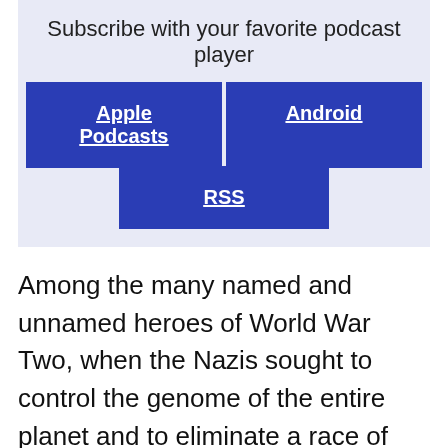Subscribe with your favorite podcast player
Apple Podcasts
Android
RSS
Among the many named and unnamed heroes of World War Two, when the Nazis sought to control the genome of the entire planet and to eliminate a race of people from the face of the earth, were the rescuers who provided a safe haven for those being methodically herded, in Antonina Zabinski's words, to the entrance of crematoriums and the thresholds of the gas